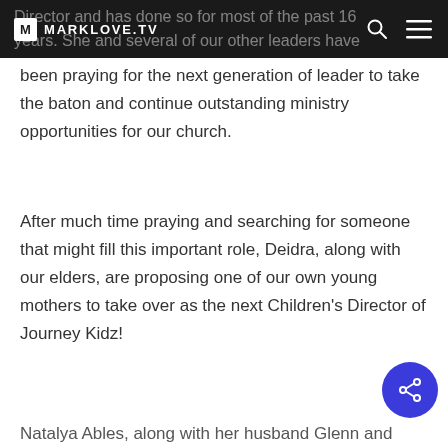MARKLOVE.TV
Director and has done so for most of the past 16 years. She and several of our other leaders have been praying for the next generation of leader to take the baton and continue outstanding ministry opportunities for our church.
After much time praying and searching for someone that might fill this important role, Deidra, along with our elders, are proposing one of our own young mothers to take over as the next Children's Director of Journey Kidz!
Natalya Ables, along with her husband Glenn and their 2 beautiful daughters, Edith and Abigail, have been actively attending, serving, and investing in our church for some time. We have watched them get involved, form new friendships, jump into the deep end of serving in our children's ministry, go...